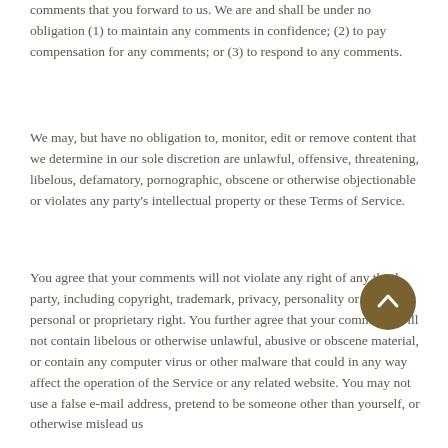comments that you forward to us. We are and shall be under no obligation (1) to maintain any comments in confidence; (2) to pay compensation for any comments; or (3) to respond to any comments.
We may, but have no obligation to, monitor, edit or remove content that we determine in our sole discretion are unlawful, offensive, threatening, libelous, defamatory, pornographic, obscene or otherwise objectionable or violates any party's intellectual property or these Terms of Service.
You agree that your comments will not violate any right of any third-party, including copyright, trademark, privacy, personality or other personal or proprietary right. You further agree that your comments will not contain libelous or otherwise unlawful, abusive or obscene material, or contain any computer virus or other malware that could in any way affect the operation of the Service or any related website. You may not use a false e-mail address, pretend to be someone other than yourself, or otherwise mislead us or third-parties as to the origin of any comments.